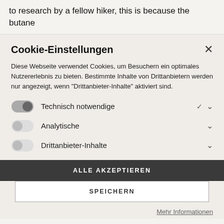to research by a fellow hiker, this is because the butane
Cookie-Einstellungen
Diese Webseite verwendet Cookies, um Besuchern ein optimales Nutzererlebnis zu bieten. Bestimmte Inhalte von Drittanbietern werden nur angezeigt, wenn "Drittanbieter-Inhalte" aktiviert sind.
Technisch notwendige
Analytische
Drittanbieter-Inhalte
ALLE AKZEPTIEREN
SPEICHERN
Mehr Informationen